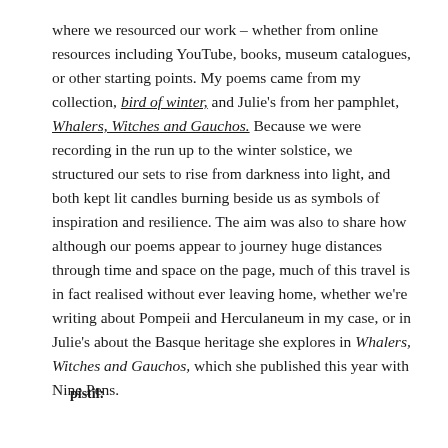where we resourced our work – whether from online resources including YouTube, books, museum catalogues, or other starting points. My poems came from my collection, bird of winter, and Julie's from her pamphlet, Whalers, Witches and Gauchos. Because we were recording in the run up to the winter solstice, we structured our sets to rise from darkness into light, and both kept lit candles burning beside us as symbols of inspiration and resilience. The aim was also to share how although our poems appear to journey huge distances through time and space on the page, much of this travel is in fact realised without ever leaving home, whether we're writing about Pompeii and Herculaneum in my case, or in Julie's about the Basque heritage she explores in Whalers, Witches and Gauchos, which she published this year with Nine Pens.
pistil: